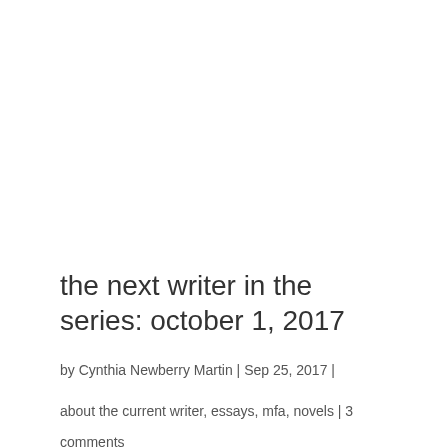the next writer in the series: october 1, 2017
by Cynthia Newberry Martin | Sep 25, 2017 |
about the current writer, essays, mfa, novels | 3 comments